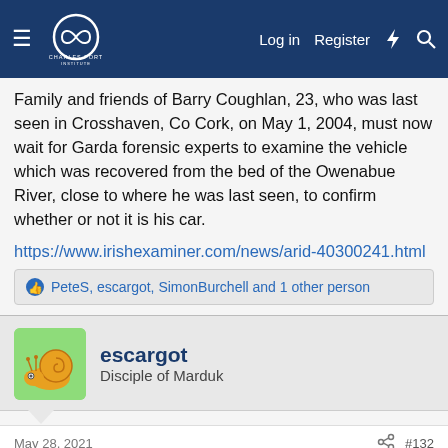Charles Fort Institute — Log in | Register
Family and friends of Barry Coughlan, 23, who was last seen in Crosshaven, Co Cork, on May 1, 2004, must now wait for Garda forensic experts to examine the vehicle which was recovered from the bed of the Owenabue River, close to where he was last seen, to confirm whether or not it is his car.
https://www.irishexaminer.com/news/arid-40300241.html
PeteS, escargot, SimonBurchell and 1 other person
escargot
Disciple of Marduk
May 28, 2021  #132
This site uses cookies to help personalise content, tailor your experience and to keep you logged in if you register.
By continuing to use this site, you are consenting to our use of cookies.